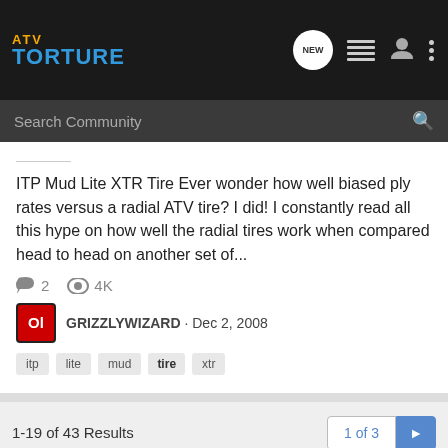[Figure (logo): ATV Torture logo with orange ATV text and blue TORTURE text on dark background, with navigation icons (NEW badge, list, user, more)]
Search Community
ITP Mud Lite XTR Tire Ever wonder how well biased ply rates versus a radial ATV tire? I did! I constantly read all this hype on how well the radial tires work when compared head to head on another set of...
2   4K
GRIZZLYWIZARD · Dec 2, 2008
itp
lite
mud
tire
xtr
1-19 of 43 Results
1 of 3
< Search